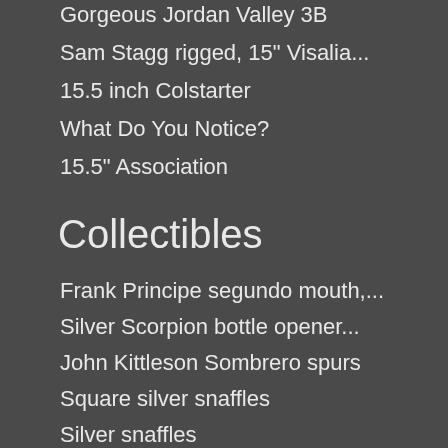Gorgeous Jordan Valley 3B
Sam Stagg rigged, 15" Visalia...
15.5 inch Colstarter
What Do You Notice?
15.5" Association
Collectibles
Frank Principe segundo mouth,...
Silver Scorpion bottle opener...
John Kittleson Sombrero spurs
Square silver snaffles
Silver snaffles
RM high port pistol bit... Rein...